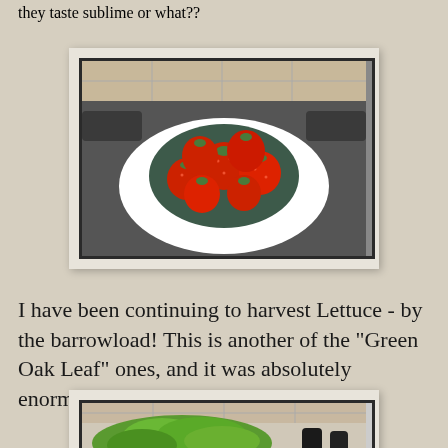they taste sublime or what??
[Figure (photo): Bowl of fresh red strawberries on a white plate, sitting on a gas hob/stove, with tile backsplash visible in background]
I have been continuing to harvest Lettuce - by the barrowload! This is another of the "Green Oak Leaf" ones, and it was absolutely enormous:
[Figure (photo): Large green oak leaf lettuce on a kitchen counter with tile backsplash visible, partially cropped at bottom of page]